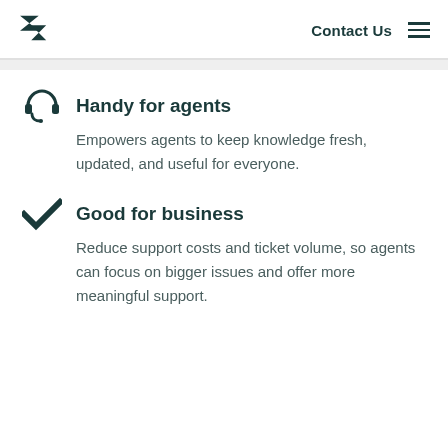Contact Us
Handy for agents
Empowers agents to keep knowledge fresh, updated, and useful for everyone.
Good for business
Reduce support costs and ticket volume, so agents can focus on bigger issues and offer more meaningful support.